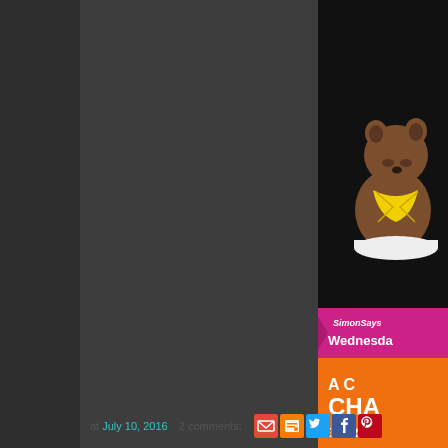[Figure (illustration): Screenshot of a blog page with dark background. Right side shows a partial SimonSays Wednesday challenge promotional banner with an illustrated cartoon dog/bear character wearing a yellow scarf at top, a pink ribbon banner reading 'SimonSays Wednesday', and an orange area reading 'A CHA... EVERY W...' (challenge every week). The rest of the page is dark gray background.]
at July 10, 2016   2 comments: